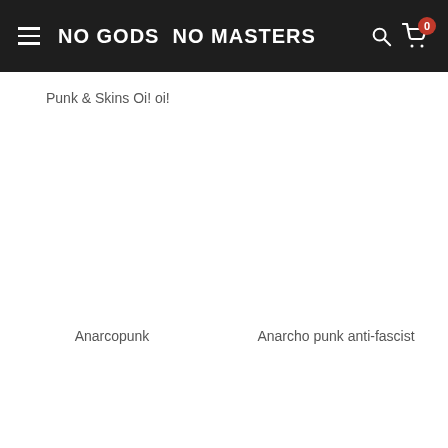NO GODS NO MASTERS
Punk & Skins Oi! oi!
Anarcopunk
Anarcho punk anti-fascist